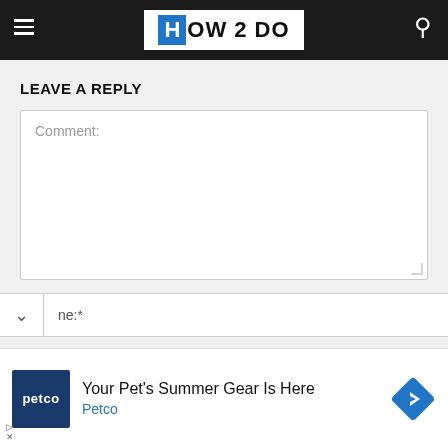HOW 2 DO
LEAVE A REPLY
Comment:
ne:*
[Figure (logo): Petco advertisement banner with blue Petco logo, text 'Your Pet's Summer Gear Is Here' and 'Petco' in blue, with a blue diamond navigation arrow icon on the right]